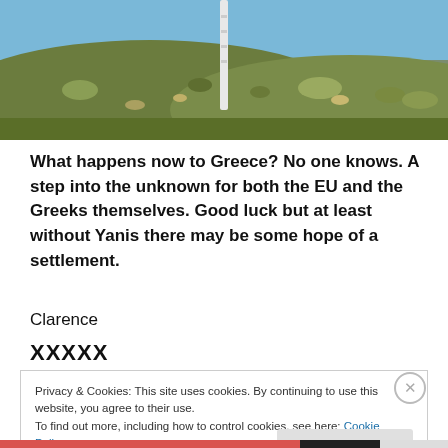[Figure (photo): Outdoor landscape photo showing a hillside with rocky terrain and a clear blue sky, with a white pole/post visible in the center. Cropped view, showing only the upper portion of the image.]
What happens now to Greece? No one knows. A step into the unknown for both the EU and the Greeks themselves. Good luck but at least without Yanis there may be some hope of a settlement.
Clarence
XXXXX
Privacy & Cookies: This site uses cookies. By continuing to use this website, you agree to their use.
To find out more, including how to control cookies, see here: Cookie Policy
Close and accept